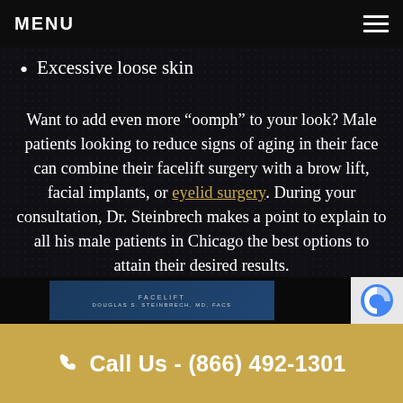MENU
Excessive loose skin
Want to add even more “oomph” to your look? Male patients looking to reduce signs of aging in their face can combine their facelift surgery with a brow lift, facial implants, or eyelid surgery. During your consultation, Dr. Steinbrech makes a point to explain to all his male patients in Chicago the best options to attain their desired results.
[Figure (screenshot): Bottom strip showing FACELIFT and DOUGLAS S. STEINBRECH, MD, FACS text with reCAPTCHA badge]
Call Us - (866) 492-1301